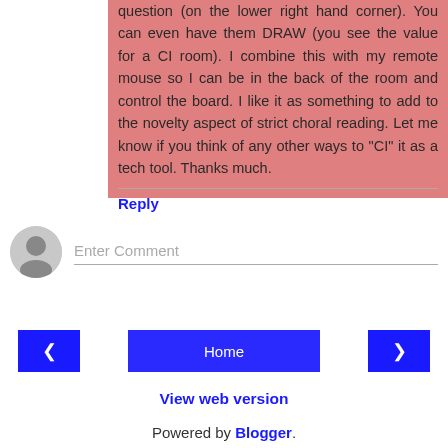question (on the lower right hand corner). You can even have them DRAW (you see the value for a CI room). I combine this with my remote mouse so I can be in the back of the room and control the board. I like it as something to add to the novelty aspect of strict choral reading. Let me know if you think of any other ways to "CI" it as a tech tool. Thanks much.
Reply
Enter Comment
Home
View web version
Powered by Blogger.